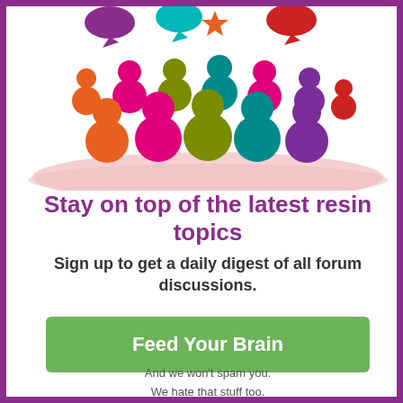[Figure (illustration): Colorful cartoon people icons (circles) in various colors — orange, magenta, olive, teal, purple, red — arranged in a group, with speech bubbles above them in purple, teal, orange, and red. Below the figures is a large light pink oval/ellipse platform.]
Stay on top of the latest resin topics
Sign up to get a daily digest of all forum discussions.
Feed Your Brain
And we won't spam you.
We hate that stuff too.